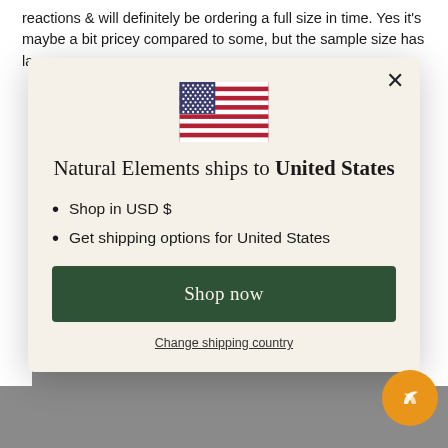reactions & will definitely be ordering a full size in time. Yes it's maybe a bit pricey compared to some, but the sample size has la
[Figure (illustration): US flag SVG illustration centered in modal]
Natural Elements ships to United States
Shop in USD $
Get shipping options for United States
Shop now
Change shipping country